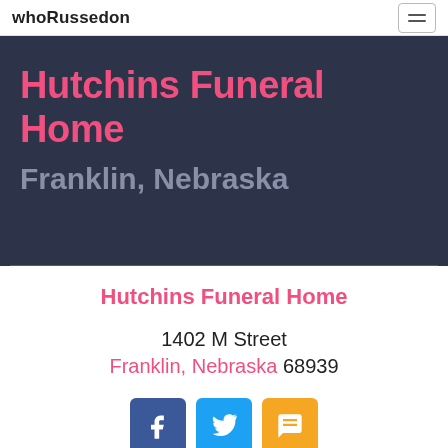whoRussedon
Hutchins Funeral Home
Franklin, Nebraska
Hutchins Funeral Home
1402 M Street
Franklin, Nebraska 68939
[Figure (other): Social media icon buttons: Facebook (blue), Twitter (light blue), SMS (yellow/orange)]